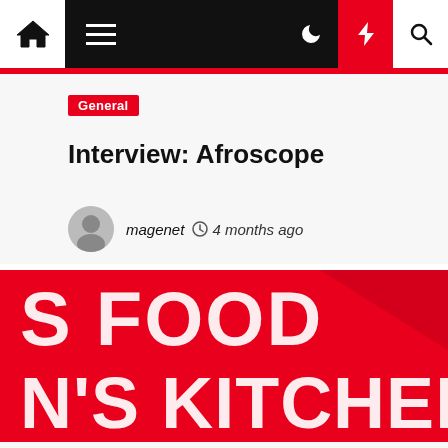Navigation bar with home, menu, dark mode, flash, and search icons
General
Interview: Afroscope
magenet  4 months ago
[Figure (photo): Red background image with large white bold text reading 'S FOOD' and below it 'N'S KITCHEN', partially cropped on the left side]
General